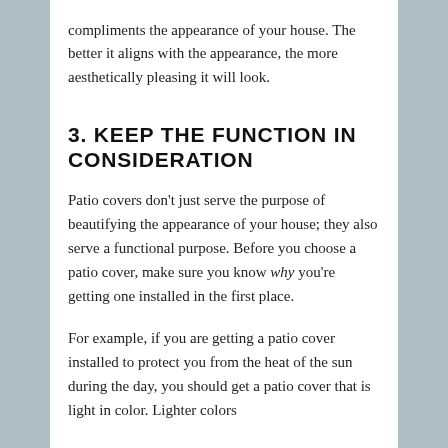compliments the appearance of your house. The better it aligns with the appearance, the more aesthetically pleasing it will look.
3. KEEP THE FUNCTION IN CONSIDERATION
Patio covers don't just serve the purpose of beautifying the appearance of your house; they also serve a functional purpose. Before you choose a patio cover, make sure you know why you're getting one installed in the first place.
For example, if you are getting a patio cover installed to protect you from the heat of the sun during the day, you should get a patio cover that is light in color. Lighter colors